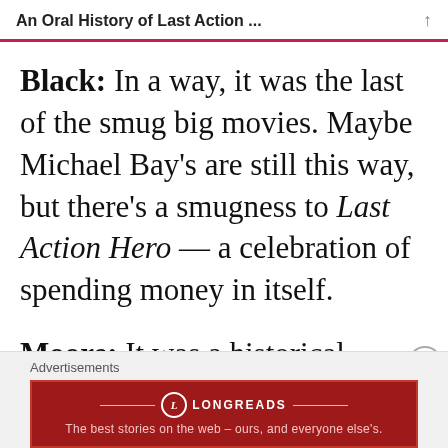An Oral History of Last Action ...
Black: In a way, it was the last of the smug big movies. Maybe Michael Bay's are still this way, but there's a smugness to Last Action Hero — a celebration of spending money in itself.
Moore: It was a historical moment,
Advertisements
[Figure (other): Longreads advertisement banner: red background with logo and tagline 'The best stories on the web — ours, and everyone else's.']